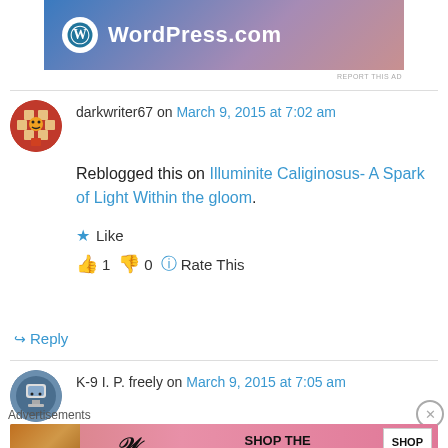[Figure (illustration): WordPress.com banner ad with logo and gradient background]
REPORT THIS AD
darkwriter67 on March 9, 2015 at 7:02 am
Reblogged this on Illuminite Caliginosus- A Spark of Light Within the gloom.
★ Like
👍 1 👎 0 ℹ Rate This
↪ Reply
K-9 I. P. freely on March 9, 2015 at 7:05 am
Advertisements
[Figure (illustration): Victoria's Secret advertisement banner - Shop The Collection]